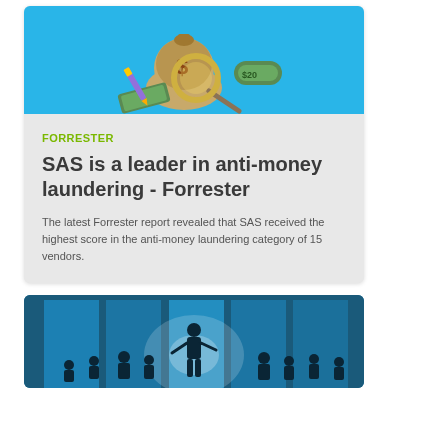[Figure (illustration): Photo of a burlap money bag with a dollar sign magnifying glass and rolled banknotes on a blue background]
FORRESTER
SAS is a leader in anti-money laundering - Forrester
The latest Forrester report revealed that SAS received the highest score in the anti-money laundering category of 15 vendors.
[Figure (photo): Silhouette of a presenter and audience in a meeting room with blue backlit windows]